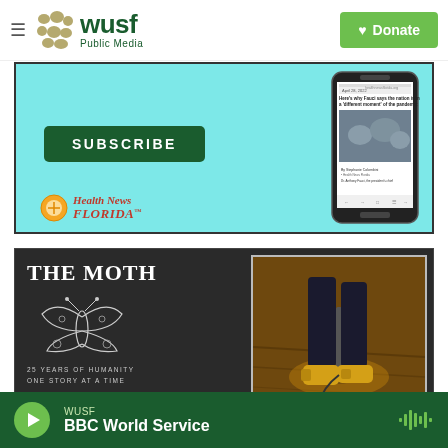WUSF Public Media — Donate
[Figure (screenshot): Health News Florida subscribe banner with cyan background, SUBSCRIBE button, phone mockup showing healthnewsflorida.org article about Fauci]
[Figure (screenshot): The Moth — 25 Years of Humanity One Story at a Time banner with dark background, moth illustration, and photo of person's feet near microphone stand]
WUSF — BBC World Service (player bar)